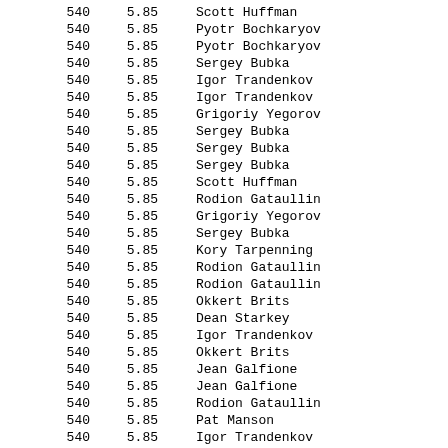| 540 | 5.85 | Scott Huffman |
| 540 | 5.85 | Pyotr Bochkaryov |
| 540 | 5.85 | Pyotr Bochkaryov |
| 540 | 5.85 | Sergey Bubka |
| 540 | 5.85 | Igor Trandenkov |
| 540 | 5.85 | Igor Trandenkov |
| 540 | 5.85 | Grigoriy Yegorov |
| 540 | 5.85 | Sergey Bubka |
| 540 | 5.85 | Sergey Bubka |
| 540 | 5.85 | Sergey Bubka |
| 540 | 5.85 | Scott Huffman |
| 540 | 5.85 | Rodion Gataullin |
| 540 | 5.85 | Grigoriy Yegorov |
| 540 | 5.85 | Sergey Bubka |
| 540 | 5.85 | Kory Tarpenning |
| 540 | 5.85 | Rodion Gataullin |
| 540 | 5.85 | Rodion Gataullin |
| 540 | 5.85 | Okkert Brits |
| 540 | 5.85 | Dean Starkey |
| 540 | 5.85 | Igor Trandenkov |
| 540 | 5.85 | Okkert Brits |
| 540 | 5.85 | Jean Galfione |
| 540 | 5.85 | Jean Galfione |
| 540 | 5.85 | Rodion Gataullin |
| 540 | 5.85 | Pat Manson |
| 540 | 5.85 | Igor Trandenkov |
| 540 | 5.85 | Jean Galfione |
| 540 | 5.85 | Viktor Chistyakov |
| 540 | 5.85 | Okkert Brits |
| 540 | 5.85 | Okkert Brits |